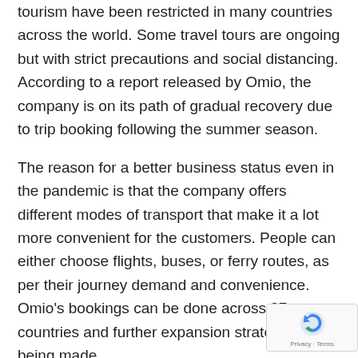tourism have been restricted in many countries across the world. Some travel tours are ongoing but with strict precautions and social distancing. According to a report released by Omio, the company is on its path of gradual recovery due to trip booking following the summer season.
The reason for a better business status even in the pandemic is that the company offers different modes of transport that make it a lot more convenient for the customers. People can either choose flights, buses, or ferry routes, as per their journey demand and convenience. Omio's bookings can be done across 37 countries and further expansion strategies are being made.